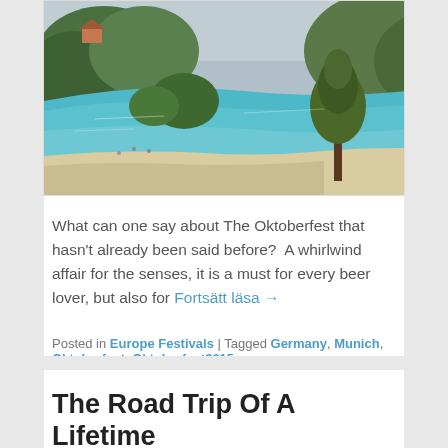[Figure (photo): Aerial/elevated view of a scenic Mediterranean-style bay with turquoise water, sandy beach, pine trees in foreground, and hillside buildings in the background under an overcast sky.]
What can one say about The Oktoberfest that hasn't already been said before? A whirlwind affair for the senses, it is a must for every beer lover, but also for Fortsätt läsa →
Posted in Europe Festivals | Tagged Germany, Munich, Oktoberfest, Oktoberfest2015
The Road Trip Of A Lifetime